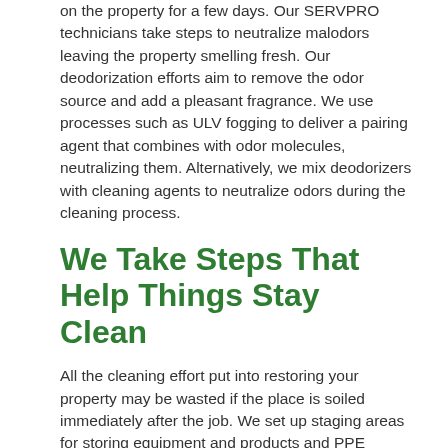on the property for a few days. Our SERVPRO technicians take steps to neutralize malodors leaving the property smelling fresh. Our deodorization efforts aim to remove the odor source and add a pleasant fragrance. We use processes such as ULV fogging to deliver a pairing agent that combines with odor molecules, neutralizing them. Alternatively, we mix deodorizers with cleaning agents to neutralize odors during the cleaning process.
We Take Steps That Help Things Stay Clean
All the cleaning effort put into restoring your property may be wasted if the place is soiled immediately after the job. We set up staging areas for storing equipment and products and PPE personal protective equipment. We strive never to track dirt or debris into the service area.
Restoration is only complete when a property looks and feels clean. Call SERVPRO of Flathead County at (406) 300-0435 to help. We're Faster To Any Size Disaster.
Fire Damage